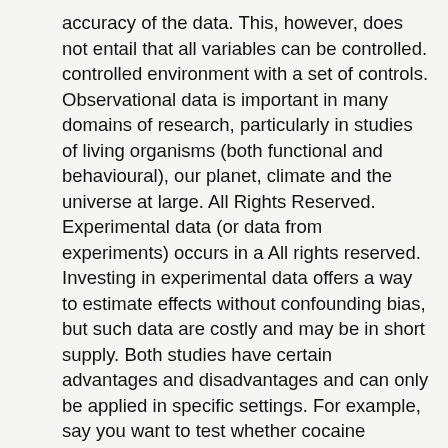accuracy of the data. This, however, does not entail that all variables can be controlled. controlled environment with a set of controls. Observational data is important in many domains of research, particularly in studies of living organisms (both functional and behavioural), our planet, climate and the universe at large. All Rights Reserved. Experimental data (or data from experiments) occurs in a All rights reserved. Investing in experimental data offers a way to estimate effects without confounding bias, but such data are costly and may be in short supply. Both studies have certain advantages and disadvantages and can only be applied in specific settings. For example, say you want to test whether cocaine dosage affects heart rate. His research concerns causal inference, prediction, adjusting for missing and censored data, and estimation based on high-dimensional observational and experimental biomedical and genomic data. Cohort studies and case control studies are two types of observational studies. [CC BY-SA 4.0] via Wikimedia Commons, 2. Experimental data is the best type of data for